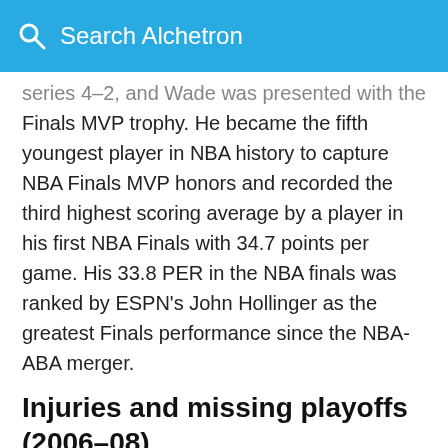Search Alchetron
series 4–2, and Wade was presented with the Finals MVP trophy. He became the fifth youngest player in NBA history to capture NBA Finals MVP honors and recorded the third highest scoring average by a player in his first NBA Finals with 34.7 points per game. His 33.8 PER in the NBA finals was ranked by ESPN's John Hollinger as the greatest Finals performance since the NBA-ABA merger.
Injuries and missing playoffs (2006–08)
In the 2006–07 season, Wade missed a total of 31 games due to injury. He was elected to h…